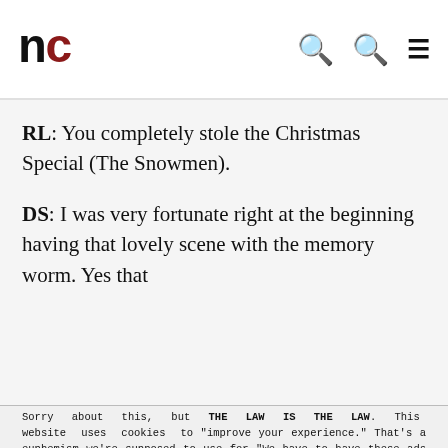nc (logo) | search | search | menu
RL: You completely stole the Christmas Special (The Snowmen).
DS: I was very fortunate right at the beginning having that lovely scene with the memory worm. Yes that
Sorry about this, but THE LAW IS THE LAW. This website uses cookies to "improve your experience." That's a euphemism we're supposed to use for "We have to have these ads because websites cost money." The cookies and/or scripts we use are mostly from Google Analytics, AdSense, and YouTube. However we've instructed Google to anonymize any data that they collect. Just so you know. We'll assume you're ok with this, but you can opt-out if you wish. Just bear in mind, certain embeds and such might not work.<br /> <br /> Also, please be aware that when we link out to products, we may earn a commission for doing so. Because we're certainly not doing it for our health. See our privacy policy & terms of use for more info than you would ever want to know. - Privacy Policy & Terms of Use